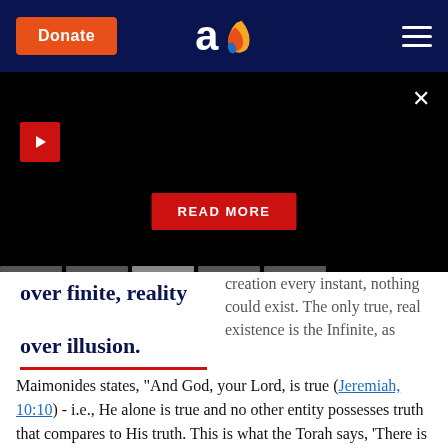Donate | [Aish logo] | [Menu]
[Figure (screenshot): Black video player area with red play button, close X button, READ MORE button, and progress tab bars at bottom]
over finite, reality over illusion.
creation every instant, nothing could exist. The only true, real existence is the Infinite, as
Maimonides states, "And God, your Lord, is true (Jeremiah, 10:10) - i.e., He alone is true and no other entity possesses truth that compares to His truth. This is what the Torah says, 'There is nothing else but Him' (Deut. 4:35), meaning, aside from Him, there is no true